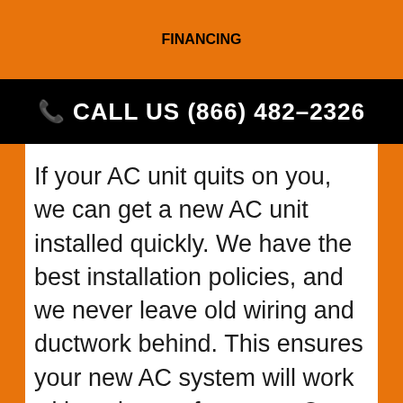FINANCING
📞 CALL US (866) 482-2326
If your AC unit quits on you, we can get a new AC unit installed quickly. We have the best installation policies, and we never leave old wiring and ductwork behind. This ensures your new AC system will work without issues for years. Our HVAC technicians have the skill and knowledge to help with any